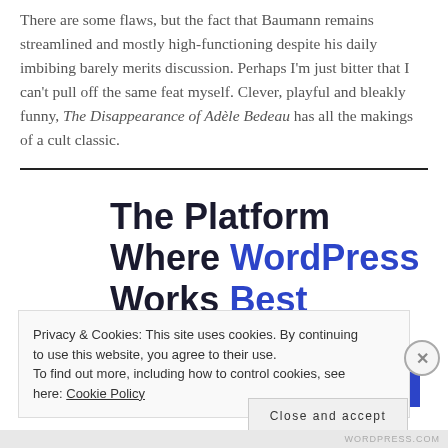There are some flaws, but the fact that Baumann remains streamlined and mostly high-functioning despite his daily imbibing barely merits discussion. Perhaps I'm just bitter that I can't pull off the same feat myself. Clever, playful and bleakly funny, The Disappearance of Adèle Bedeau has all the makings of a cult classic.
[Figure (infographic): Advertisement banner: 'The Platform Where WordPress Works Best' with a blue 'SEE PRICING' button]
Privacy & Cookies: This site uses cookies. By continuing to use this website, you agree to their use. To find out more, including how to control cookies, see here: Cookie Policy
Close and accept